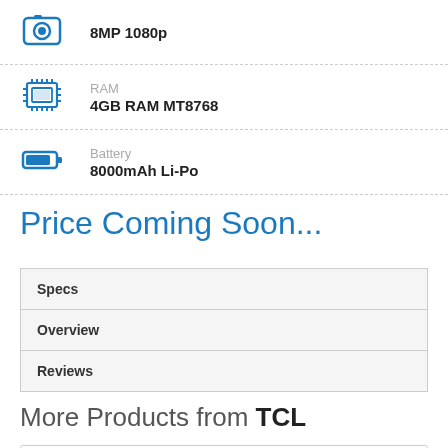8MP 1080p
RAM — 4GB RAM MT8768
Battery — 8000mAh Li-Po
Price Coming Soon...
| Specs |
| Overview |
| Reviews |
More Products from TCL
TCL 40
0 Reviews
View specs →